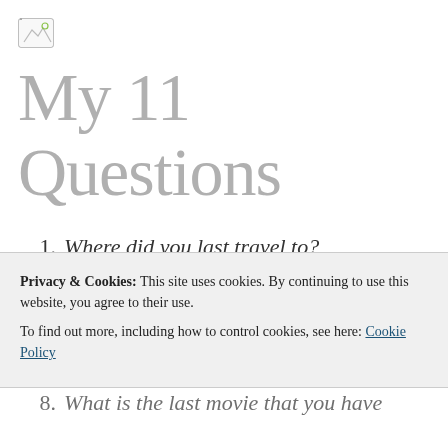[Figure (logo): Small broken/placeholder image icon in top left corner]
My 11 Questions
1. Where did you last travel to?
2. Pumpkin spice latte or plain coffee?
3. When did you start your blog?
4. Who is your favourite superhero?
Privacy & Cookies: This site uses cookies. By continuing to use this website, you agree to their use. To find out more, including how to control cookies, see here: Cookie Policy
8. What is the last movie that you have